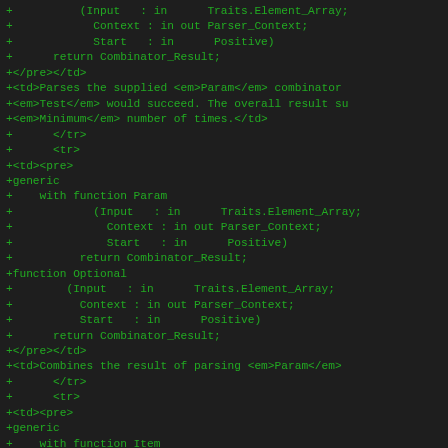Code diff showing Ada generic parser combinator definitions with HTML markup embedded in source comments/documentation